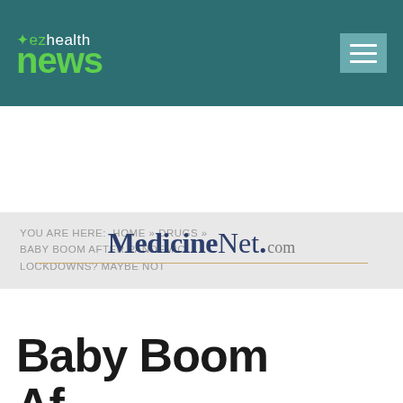ez health news
YOU ARE HERE:  HOME » DRUGS » BABY BOOM AFTER PANDEMIC LOCKDOWNS? MAYBE NOT
[Figure (logo): MedicineNet.com logo with horizontal rule beneath]
Baby Boom Af…